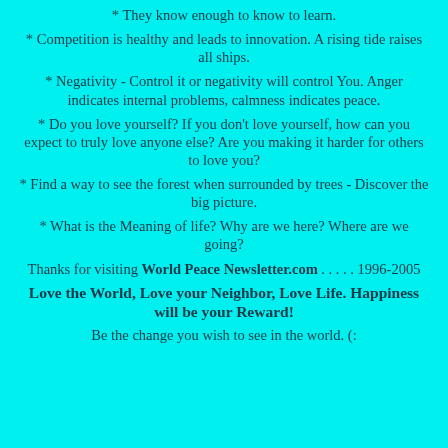* They know enough to know to learn.
* Competition is healthy and leads to innovation. A rising tide raises all ships.
* Negativity - Control it or negativity will control You. Anger indicates internal problems, calmness indicates peace.
* Do you love yourself? If you don't love yourself, how can you expect to truly love anyone else? Are you making it harder for others to love you?
* Find a way to see the forest when surrounded by trees - Discover the big picture.
* What is the Meaning of life? Why are we here? Where are we going?
Thanks for visiting World Peace Newsletter.com . . . . . 1996-2005
Love the World, Love your Neighbor, Love Life. Happiness will be your Reward!
Be the change you wish to see in the world. (: